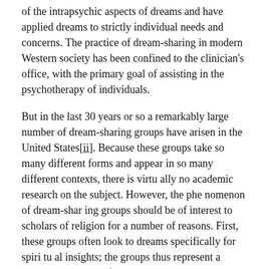of the intrapsychic aspects of dreams and have applied dreams to strictly individual needs and concerns. The practice of dream-sharing in modern Western society has been confined to the clinician's office, with the primary goal of assisting in the psychotherapy of individuals.
But in the last 30 years or so a remarkably large number of dream-sharing groups have arisen in the United States[ii]. Because these groups take so many different forms and appear in so many different contexts, there is virtu ally no academic research on the subject. However, the phe nomenon of dream-shar ing groups should be of interest to scholars of religion for a number of reasons. First, these groups often look to dreams specifically for spiri tu al insights; the groups thus represent a distinc tive means of religious expression in contemporary Ameri can society. Second, the complex interplay of religious, psychologi cal, and cultural elements in these